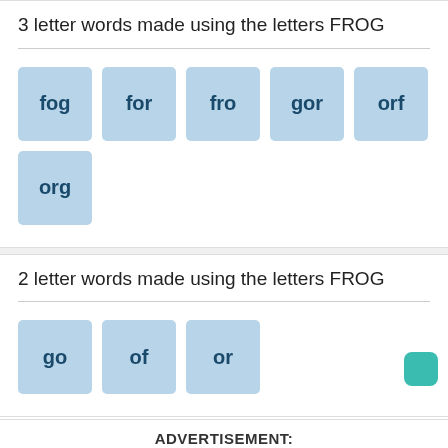3 letter words made using the letters FROG
fog
for
fro
gor
orf
org
2 letter words made using the letters FROG
go
of
or
ADVERTISEMENT: